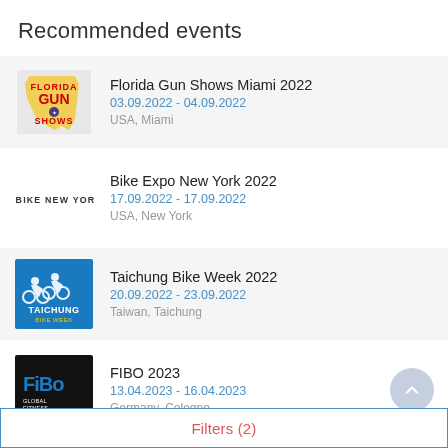Recommended events
Florida Gun Shows Miami 2022 | 03.09.2022 - 04.09.2022 | USA, Miami
Bike Expo New York 2022 | 17.09.2022 - 17.09.2022 | USA, New York
Taichung Bike Week 2022 | 20.09.2022 - 23.09.2022 | Taiwan, Taichung
FIBO 2023 | 13.04.2023 - 16.04.2023 | Germany, Cologne
Filters (2)